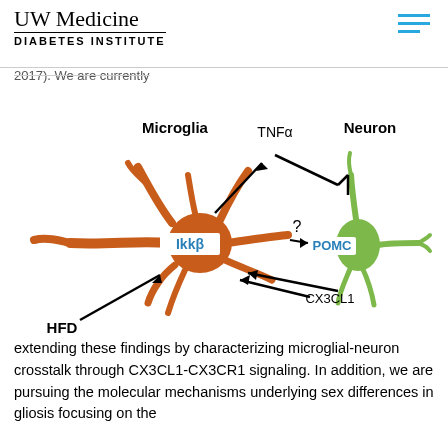UW Medicine DIABETES INSTITUTE
2017). We are currently
[Figure (illustration): Scientific diagram showing microglia-neuron crosstalk. An orange microglia cell labeled IkkB (in blue text) is shown on the left. Arrows indicate: HFD arrow pointing to microglia; TNFalpha arrows from microglia pointing up and toward neuron (with inhibitory T-bar); CX3CL1 arrows from neuron (POMC, in blue text, green cell on right) back to microglia; a question mark arrow from microglia toward POMC neuron. Labels: Microglia (bold), Neuron (bold), TNFa, POMC (blue), IkkB (blue), CX3CL1, HFD (bold), with a question mark.]
extending these findings by characterizing microglial-neuron crosstalk through CX3CL1-CX3CR1 signaling. In addition, we are pursuing the molecular mechanisms underlying sex differences in gliosis focusing on the